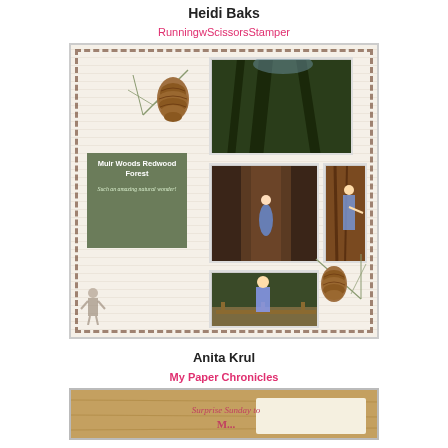Heidi Baks
RunningwScissorsStamper
[Figure (photo): Scrapbook page featuring Muir Woods Redwood Forest with multiple photos of towering redwood trees and a child, decorated with pinecone and pine needle embellishments, on a text-printed background with dashed border]
Anita Krul
My Paper Chronicles
[Figure (photo): Partial view of another scrapbook page with reddish-brown background and script text beginning with 'Surprise Sunday to']